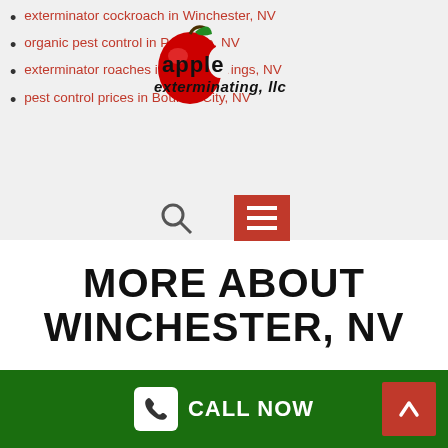exterminator cockroach in Winchester, NV
organic pest control in Paradise, NV
exterminator roaches in Indian Springs, NV
pest control prices in Boulder City, NV
[Figure (logo): Apple Exterminating LLC logo with red apple and company name]
MORE ABOUT WINCHESTER, NV
[Figure (screenshot): Google Maps embed showing error dialog: This page can't load Google Maps correctly. Do you own this website? OK button.]
CALL NOW